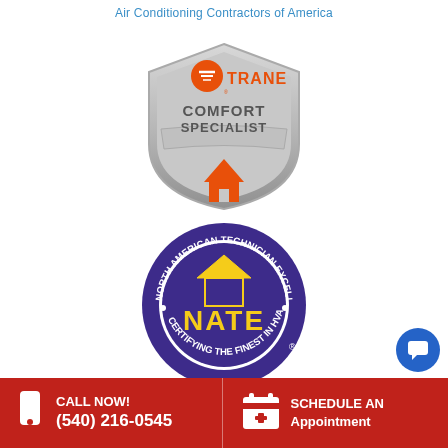Air Conditioning Contractors of America
[Figure (logo): Trane Comfort Specialist badge logo - silver shield shape with orange Trane logo at top, text COMFORT SPECIALIST in center, orange house icon at bottom]
[Figure (logo): NATE - North American Technician Excellence circular badge logo - purple circle with yellow NATE text inside house icon, text around border reading NORTH AMERICAN TECHNICIAN EXCELLENCE and CERTIFYING THE FINEST IN HVACR]
Recent Posts
CALL NOW! (540) 216-0545
SCHEDULE AN Appointment